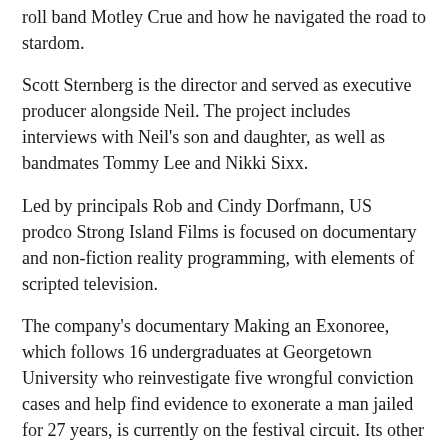roll band Motley Crue and how he navigated the road to stardom.
Scott Sternberg is the director and served as executive producer alongside Neil. The project includes interviews with Neil's son and daughter, as well as bandmates Tommy Lee and Nikki Sixx.
Led by principals Rob and Cindy Dorfmann, US prodco Strong Island Films is focused on documentary and non-fiction reality programming, with elements of scripted television.
The company's documentary Making an Exonoree, which follows 16 undergraduates at Georgetown University who reinvestigate five wrongful conviction cases and help find evidence to exonerate a man jailed for 27 years, is currently on the festival circuit. Its other credits include Invention USA, Up & Vanished, My Uncle is the Green River Killer, Fight Science and Crime 360.